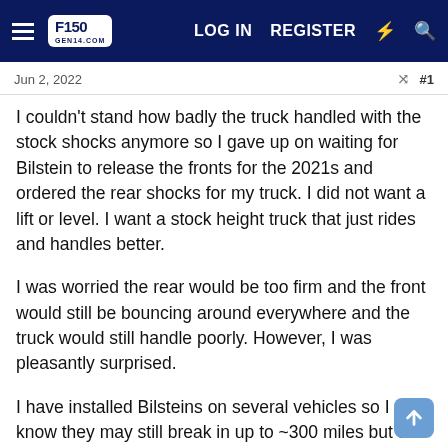F150Gen14.com — LOG IN  REGISTER
Jun 2, 2022
I couldn't stand how badly the truck handled with the stock shocks anymore so I gave up on waiting for Bilstein to release the fronts for the 2021s and ordered the rear shocks for my truck. I did not want a lift or level. I want a stock height truck that just rides and handles better.
I was worried the rear would be too firm and the front would still be bouncing around everywhere and the truck would still handle poorly. However, I was pleasantly surprised.
I have installed Bilsteins on several vehicles so I know they may still break in up to ~300 miles but the ride and handling improvement from the first day was much better than the stock shocks, and much better than I imagined.
On the stock shocks, it feels like the rear is just completely uncontrolled at times and each end of the truck was doing